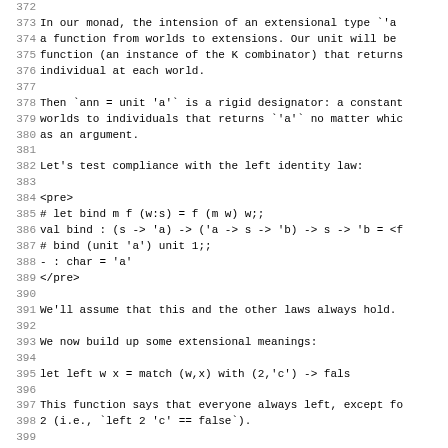372
373 In our monad, the intension of an extensional type `'a
374 a function from worlds to extensions.  Our unit will be
375 function (an instance of the K combinator) that returns
376 individual at each world.
377
378 Then `ann = unit 'a'` is a rigid designator: a constant
379 worlds to individuals that returns `'a'` no matter whic
380 as an argument.
381
382 Let's test compliance with the left identity law:
383
384 <pre>
385 # let bind m f (w:s) = f (m w) w;;
386 val bind : (s -> 'a) -> ('a -> s -> 'b) -> s -> 'b = <f
387 # bind (unit 'a') unit 1;;
388 - : char = 'a'
389 </pre>
390
391 We'll assume that this and the other laws always hold.
392
393 We now build up some extensional meanings:
394
395         let left w x = match (w,x) with (2,'c') -> fals
396
397 This function says that everyone always left, except fo
398 2 (i.e., `left 2 'c' == false`).
399
400 Then the way to evaluate an extensional sentence is to
401 extension of the verb phrase, and then apply that exter
402 extension of the subject:
403